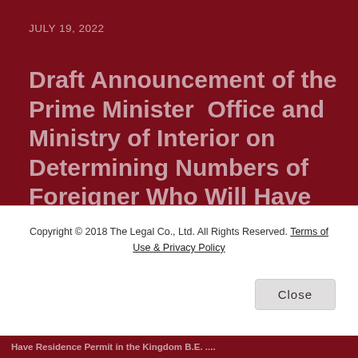JULY 19, 2022
Draft Announcement of the Prime Minister  Office and Ministry of Interior on Determining Numbers of Foreigner Who Will Have Residence in the Kingdom B.E. ....
Copyright © 2018 The Legal Co., Ltd. All Rights Reserved. Terms of Use & Privacy Policy
Close
Have Residence Permit in the Kingdom B.E. ....